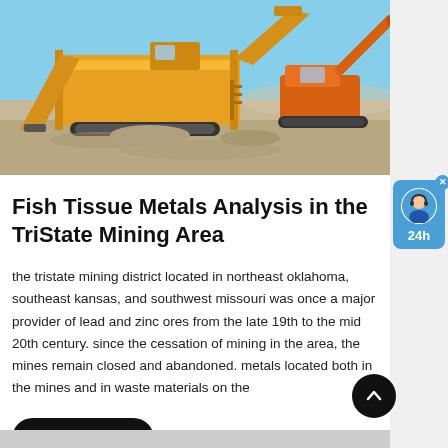[Figure (photo): Mining equipment — large yellow crushing/screening machines and an orange excavator at a mining site with rocky ground and blue sky]
Fish Tissue Metals Analysis in the TriState Mining Area
the tristate mining district located in northeast oklahoma, southeast kansas, and southwest missouri was once a major provider of lead and zinc ores from the late 19th to the mid 20th century. since the cessation of mining in the area, the mines remain closed and abandoned. metals located both in the mines and in waste materials on the
[Figure (other): Inquire Now button (black rounded rectangle) and back-to-top arrow button (black circle)]
[Figure (other): 24h live chat widget on right side — blue rounded rectangle with avatar icon and '24h' label]